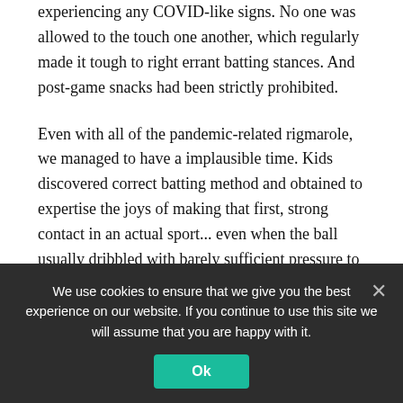experiencing any COVID-like signs. No one was allowed to the touch one another, which regularly made it tough to right errant batting stances. And post-game snacks had been strictly prohibited.
Even with all of the pandemic-related rigmarole, we managed to have a implausible time. Kids discovered correct batting method and obtained to expertise the joys of making that first, strong contact in an actual sport... even when the ball usually dribbled with barely sufficient pressure to achieve third base. They developed expertise at throwing, fielding, and catching that by the top of the season began to
We use cookies to ensure that we give you the best experience on our website. If you continue to use this site we will assume that you are happy with it.